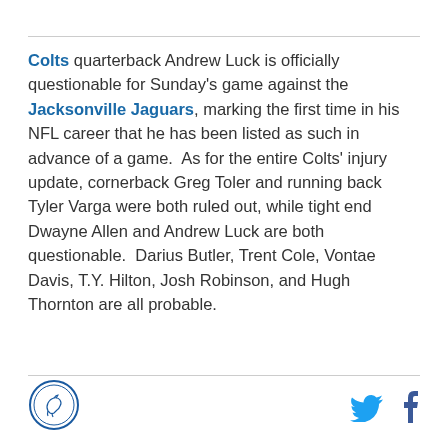Colts quarterback Andrew Luck is officially questionable for Sunday's game against the Jacksonville Jaguars, marking the first time in his NFL career that he has been listed as such in advance of a game.  As for the entire Colts' injury update, cornerback Greg Toler and running back Tyler Varga were both ruled out, while tight end Dwayne Allen and Andrew Luck are both questionable.  Darius Butler, Trent Cole, Vontae Davis, T.Y. Hilton, Josh Robinson, and Hugh Thornton are all probable.
[Figure (logo): Circular logo with horse illustration in blue outline]